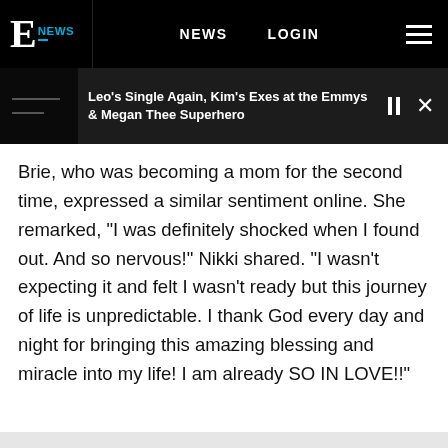E! NEWS   NEWS   LOGIN
[Figure (screenshot): E! News podcast/audio player bar showing title: Leo's Single Again, Kim's Exes at the Emmys & Megan Thee Superhero, with pause and close controls]
Brie, who was becoming a mom for the second time, expressed a similar sentiment online. She remarked, "I was definitely shocked when I found out. And so nervous!" Nikki shared. "I wasn't expecting it and felt I wasn't ready but this journey of life is unpredictable. I thank God every day and night for bringing this amazing blessing and miracle into my life! I am already SO IN LOVE!!"